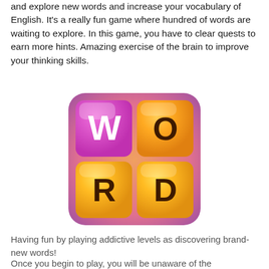and explore new words and increase your vocabulary of English. It's a really fun game where hundred of words are waiting to explore. In this game, you have to clear quests to earn more hints. Amazing exercise of the brain to improve your thinking skills.
[Figure (illustration): Word game app icon showing four colored letter tiles: a pink/magenta tile with white letter W (top-left), an orange tile with dark brown letter O (top-right), a yellow tile with dark brown letter R (bottom-left), and a yellow tile with dark brown letter D (bottom-right), arranged in a 2x2 grid on a gradient pink-to-purple background.]
Having fun by playing addictive levels as discovering brand-new words!
Once you begin to play, you will be unaware of the